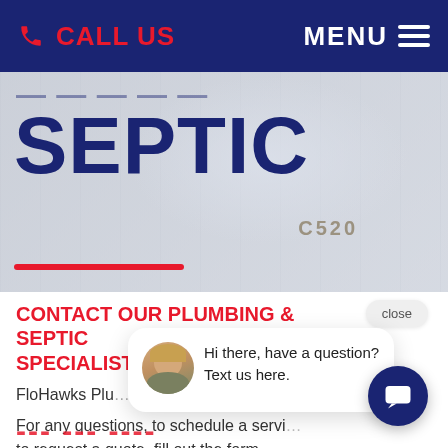CALL US   MENU
SEPTIC
CONTACT OUR PLUMBING & SEPTIC SPECIALISTS
FloHawks Plumbing & Septic is one name in...
For any questions, to schedule a service or to request a quote, fill out the form or give Flohawks a call today!
[Figure (screenshot): Live chat popup with avatar photo of a blonde woman and message: Hi there, have a question? Text us here. With a close button and chat circle button.]